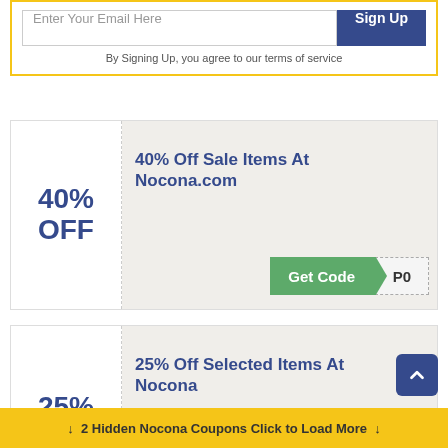Enter Your Email Here
Sign Up
By Signing Up, you agree to our terms of service
Coupons
40% OFF
40% Off Sale Items At Nocona.com
Get Code  P0
Coupons
25% OFF
25% Off Selected Items At Nocona
Get Code  ES
↓  2 Hidden Nocona Coupons Click to Load More  ↓